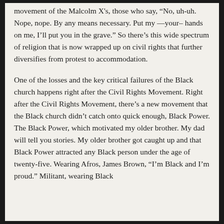movement of the Malcolm X's, those who say, “No, uh-uh. Nope, nope. By any means necessary. Put my —your– hands on me, I’ll put you in the grave.” So there’s this wide spectrum of religion that is now wrapped up on civil rights that further diversifies from protest to accommodation.
One of the losses and the key critical failures of the Black church happens right after the Civil Rights Movement. Right after the Civil Rights Movement, there’s a new movement that the Black church didn’t catch onto quick enough, Black Power. The Black Power, which motivated my older brother. My dad will tell you stories. My older brother got caught up and that Black Power attracted any Black person under the age of twenty-five. Wearing Afros, James Brown, “I’m Black and I’m proud.” Militant, wearing Black